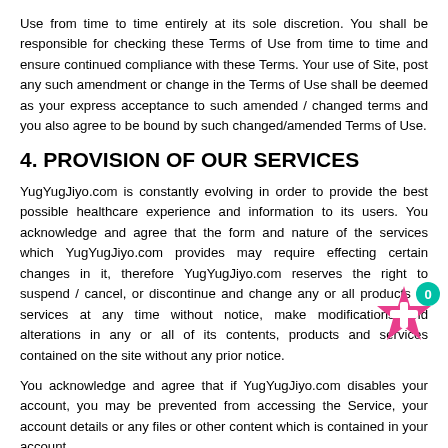Use from time to time entirely at its sole discretion. You shall be responsible for checking these Terms of Use from time to time and ensure continued compliance with these Terms. Your use of Site, post any such amendment or change in the Terms of Use shall be deemed as your express acceptance to such amended / changed terms and you also agree to be bound by such changed/amended Terms of Use.
4. PROVISION OF OUR SERVICES
YugYugJiyo.com is constantly evolving in order to provide the best possible healthcare experience and information to its users. You acknowledge and agree that the form and nature of the services which YugYugJiyo.com provides may require effecting certain changes in it, therefore YugYugJiyo.com reserves the right to suspend / cancel, or discontinue and change any or all products or services at any time without notice, make modifications and alterations in any or all of its contents, products and services contained on the site without any prior notice.
You acknowledge and agree that if YugYugJiyo.com disables your account, you may be prevented from accessing the Service, your account details or any files or other content which is contained in your account.
You acknowledge and agree that while YugYugJiyo.com may not currently have set a fixed upper limit on the number of transmissions you
[Figure (illustration): A pink/magenta star icon with a plus sign in the center, and a teal circle with '0' in the upper right corner — a UI button/badge overlay element.]